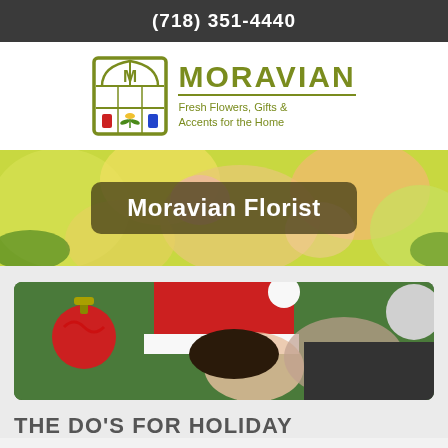(718) 351-4440
[Figure (logo): Moravian Florist logo: window icon with M emblem, flowers inside; text MORAVIAN Fresh Flowers, Gifts & Accents for the Home]
[Figure (photo): Photo banner of colorful fresh flowers — yellows, peaches, pinks, greens — with dark rounded overlay reading 'Moravian Florist']
[Figure (photo): Holiday photo of a couple kissing, woman wearing a red Santa hat, with Christmas ornaments visible on the left]
THE DO'S FOR HOLIDAY